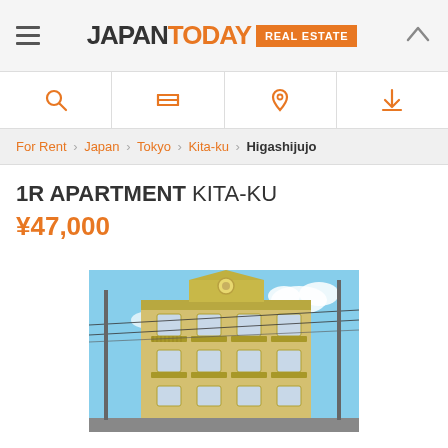JAPAN TODAY REAL ESTATE
For Rent › Japan › Tokyo › Kita-ku › Higashijujo
1R APARTMENT KITA-KU ¥47,000
[Figure (photo): Exterior photo of a yellow multi-story apartment building with ornate balconies, taken from street level against a blue sky with utility wires.]